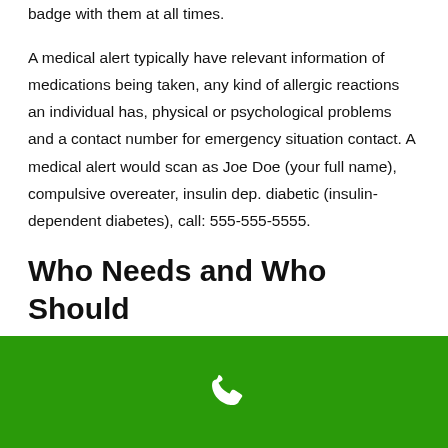badge with them at all times.
A medical alert typically have relevant information of medications being taken, any kind of allergic reactions an individual has, physical or psychological problems and a contact number for emergency situation contact. A medical alert would scan as Joe Doe (your full name), compulsive overeater, insulin dep. diabetic (insulin-dependent diabetes), call: 555-555-5555.
Who Needs and Who Should
[Figure (other): Green footer bar with a white phone icon]